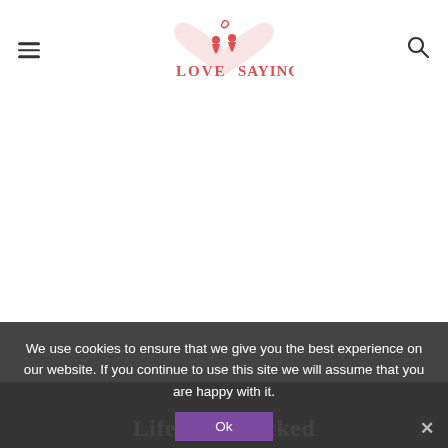Love Sayings [logo] menu hamburger and search icon
[Figure (other): Large blank white advertisement area below the header]
We use cookies to ensure that we give you the best experience on our website. If you continue to use this site we will assume that you are happy with it.
[Figure (other): Ok button in purple/mauve color for cookie consent]
[Figure (photo): Dark background image strip at bottom with partial text 'Life has knocked']